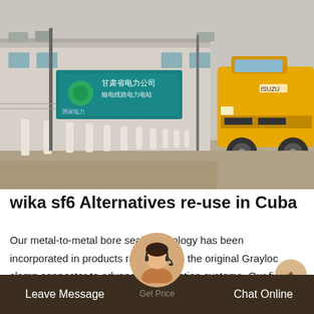[Figure (photo): Outdoor scene showing an industrial facility entrance with white bollards, a teal sign with Chinese characters, and a yellow truck (Isuzu) in the background. Grey sky and barren landscape.]
wika sf6 Alternatives re-use in Cuba
Our metal-to-metal bore seal technology has been incorporated in products ranging from the original Grayloc clamp connector to advanced connection systems. Our field-proven, pressure-containing Grayloc clamp connectors have been used in a wide range of industries since the 1...
Leave Message   Get Price   Chat Online